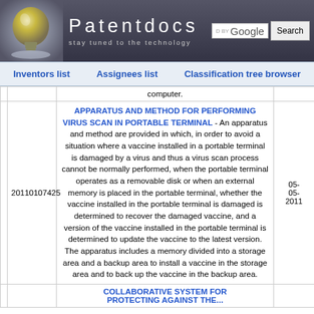[Figure (screenshot): Patentdocs website header with light bulb logo, site title 'Patentdocs', subtitle 'stay tuned to the technology', Google search box and Search button]
Inventors list | Assignees list | Classification tree browser
|  |  | computer. |  |
| --- | --- | --- | --- |
| 20110107425 | APPARATUS AND METHOD FOR PERFORMING VIRUS SCAN IN PORTABLE TERMINAL - An apparatus and method are provided in which, in order to avoid a situation where a vaccine installed in a portable terminal is damaged by a virus and thus a virus scan process cannot be normally performed, when the portable terminal operates as a removable disk or when an external memory is placed in the portable terminal, whether the vaccine installed in the portable terminal is damaged is determined to recover the damaged vaccine, and a version of the vaccine installed in the portable terminal is determined to update the vaccine to the latest version. The apparatus includes a memory divided into a storage area and a backup area to install a vaccine in the storage area and to back up the vaccine in the backup area. | 05-05-2011 |
|  | COLLABORATIVE SYSTEM FOR PROTECTING AGAINST THE... |  |